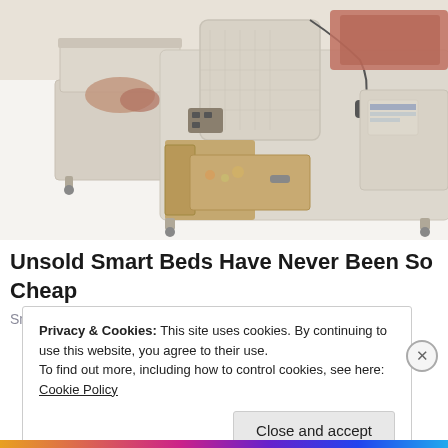[Figure (photo): Photo of a luxury smart bed with multiple storage compartments, drawers, and reclining components in beige/cream upholstery with wood-tone drawer inserts. Pillows and bedding visible. A separate storage ottoman is shown open on the left side.]
Unsold Smart Beds Have Never Been So Cheap
Smart Bed | Search Ads
Privacy & Cookies: This site uses cookies. By continuing to use this website, you agree to their use.
To find out more, including how to control cookies, see here: Cookie Policy
Close and accept